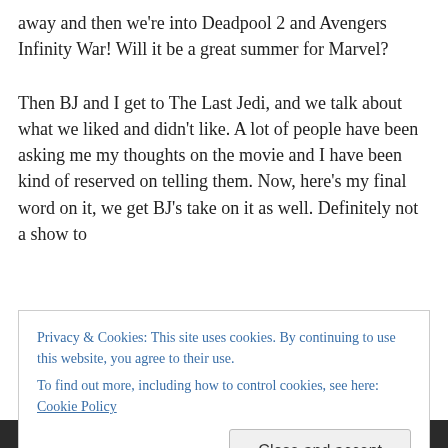away and then we're into Deadpool 2 and Avengers Infinity War! Will it be a great summer for Marvel?
Then BJ and I get to The Last Jedi, and we talk about what we liked and didn't like. A lot of people have been asking me my thoughts on the movie and I have been kind of reserved on telling them. Now, here's my final word on it, we get BJ's take on it as well. Definitely not a show to
Privacy & Cookies: This site uses cookies. By continuing to use this website, you agree to their use.
To find out more, including how to control cookies, see here: Cookie Policy
Close and accept